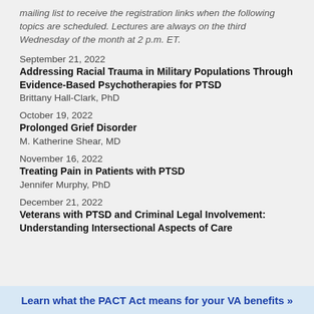mailing list to receive the registration links when the following topics are scheduled. Lectures are always on the third Wednesday of the month at 2 p.m. ET.
September 21, 2022
Addressing Racial Trauma in Military Populations Through Evidence-Based Psychotherapies for PTSD
Brittany Hall-Clark, PhD
October 19, 2022
Prolonged Grief Disorder
M. Katherine Shear, MD
November 16, 2022
Treating Pain in Patients with PTSD
Jennifer Murphy, PhD
December 21, 2022
Veterans with PTSD and Criminal Legal Involvement: Understanding Intersectional Aspects of Care
Learn what the PACT Act means for your VA benefits »